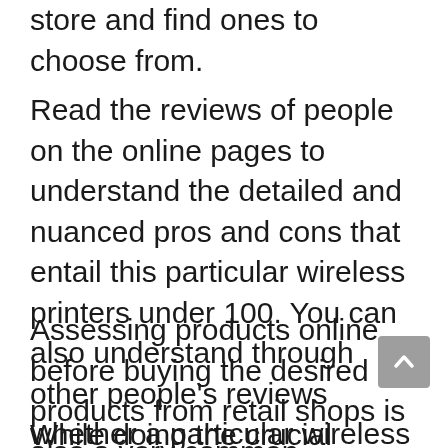printers under 100 available in the online store and find ones to choose from.
Read the reviews of people on the online pages to understand the detailed and nuanced pros and cons that entail this particular wireless printers under 100. You can also understand through other people’s reviews whether a particular wireless printers under 100 fits your needs.
Assessing products online before buying the desired products from retail shops is also a very common phenomenon.
While doing the crucial research on the